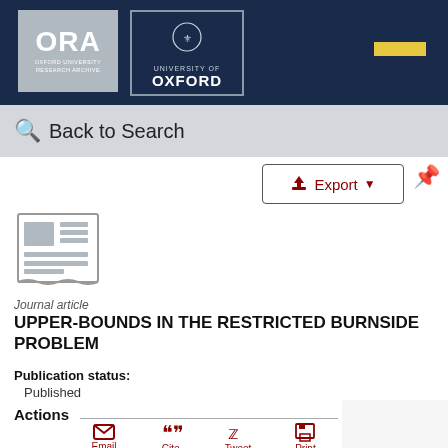ORA Oxford University Research Archive | University of Oxford
Back to Search
Export
[Figure (illustration): Journal article icon showing a newspaper/document graphic in grey]
Journal article
UPPER-BOUNDS IN THE RESTRICTED BURNSIDE PROBLEM
Publication status: Published
Actions
Email  Cite  Tweet  Print